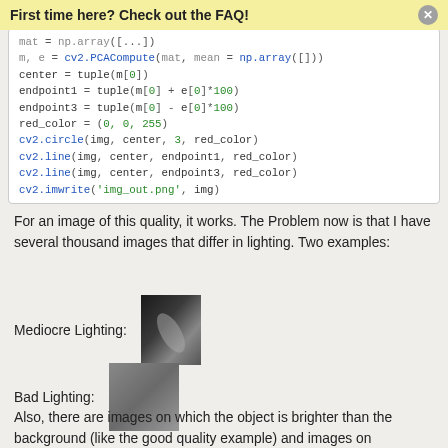First time here? Check out the FAQ!
[Figure (screenshot): Code block showing Python/OpenCV code for PCA computation and drawing lines on image]
For an image of this quality, it works. The Problem now is that I have several thousand images that differ in lighting. Two examples:
[Figure (photo): Mediocre Lighting example: grayscale image of object on dark background]
[Figure (photo): Bad Lighting example: dark grayscale image with low contrast]
Also, there are images on which the object is brighter than the background (like the good quality example) and images on